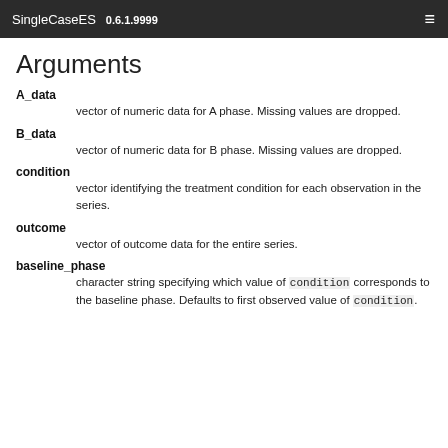SingleCaseES 0.6.1.9999
Arguments
A_data
vector of numeric data for A phase. Missing values are dropped.
B_data
vector of numeric data for B phase. Missing values are dropped.
condition
vector identifying the treatment condition for each observation in the series.
outcome
vector of outcome data for the entire series.
baseline_phase
character string specifying which value of condition corresponds to the baseline phase. Defaults to first observed value of condition.